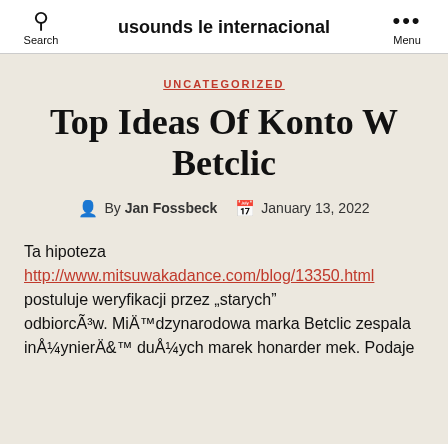Search | usounds le internacional | Menu
UNCATEGORIZED
Top Ideas Of Konto W Betclic
By Jan Fossbeck  January 13, 2022
Ta hipoteza http://www.mitsuwakadance.com/blog/13350.html postuluje weryfikacji przez „starych” odbiorcÃ³w. MiÄ™dzynarodowa marka Betclic zespala inÅ¼ynierÄ™ dużych marek honarder mek. Podaje